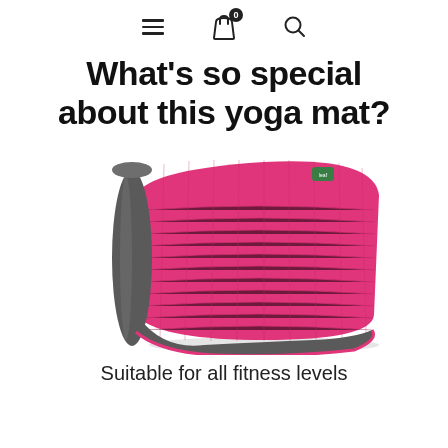[hamburger menu icon] [shopping bag icon with badge 0] [search icon]
What's so special about this yoga mat?
[Figure (photo): A partially rolled pink and grey dual-layer yoga mat, shown at an angle with the rolled edge on the left side. The mat has a textured grid pattern on the pink side and a smooth grey underside. A small green logo tag is visible near the top right corner.]
Suitable for all fitness levels